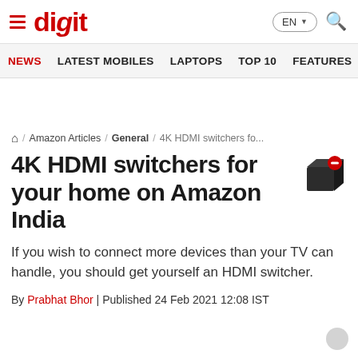digit
NEWS | LATEST MOBILES | LAPTOPS | TOP 10 | FEATURES | REVI...
Home / Amazon Articles / General / 4K HDMI switchers fo...
4K HDMI switchers for your home on Amazon India
If you wish to connect more devices than your TV can handle, you should get yourself an HDMI switcher.
By Prabhat Bhor | Published 24 Feb 2021 12:08 IST